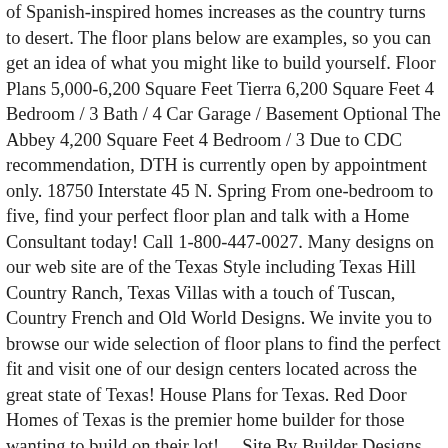of Spanish-inspired homes increases as the country turns to desert. The floor plans below are examples, so you can get an idea of what you might like to build yourself. Floor Plans 5,000-6,200 Square Feet Tierra 6,200 Square Feet 4 Bedroom / 3 Bath / 4 Car Garage / Basement Optional The Abbey 4,200 Square Feet 4 Bedroom / 3 Due to CDC recommendation, DTH is currently open by appointment only. 18750 Interstate 45 N. Spring From one-bedroom to five, find your perfect floor plan and talk with a Home Consultant today! Call 1-800-447-0027. Many designs on our web site are of the Texas Style including Texas Hill Country Ranch, Texas Villas with a touch of Tuscan, Country French and Old World Designs. We invite you to browse our wide selection of floor plans to find the perfect fit and visit one of our design centers located across the great state of Texas! House Plans for Texas. Red Door Homes of Texas is the premier home builder for those wanting to build on their lot! ... Site By Builder Designs. We are a full-service, custom homebuilder that has been building stunning custom homes in the Central Texas and Houston areas since 1997. Choose the home plan size and features you prefer and let's build. Browse Floor Plans. Browse through some of our custom floor plans for inspiration. From inspiration to design, Kurk Homes will lead you through the home plan design process. We are a full-service, custom homebuilder that has been building stunning custom homes in the Central Texas and Houston areas since 1997. Custom Homes Without The Hassle Whether you choose from our customizable floor plans or arrive with your ideas already mapped out, we can help you realize your skip to Main Content FOR SALES INFORMATION: